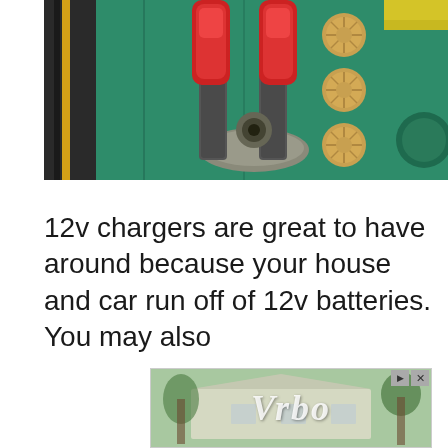[Figure (photo): Close-up photograph of battery terminal clamps (red handles) connected to a green battery or electronic component, with gold-colored knobs/thumbscrews visible on the right side.]
12v chargers are great to have around because your house and car run off of 12v batteries. You may also
[Figure (photo): Vrbo advertisement showing a blurred image of a vacation house with palm trees and the Vrbo logo text overlaid in white italic script.]